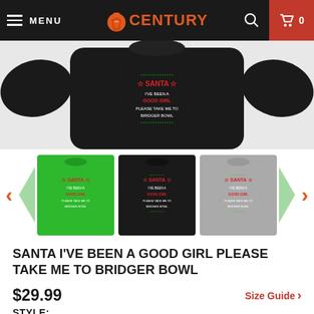MENU | Tee Century | Search | Cart 0
[Figure (photo): Product image of a black Christmas sweatshirt shown large, with carousel thumbnails below showing green, black, and gray color variants]
SANTA I'VE BEEN A GOOD GIRL PLEASE TAKE ME TO BRIDGER BOWL
$29.99
Size Guide
STYLE:
[Figure (photo): Style option thumbnails: sweatshirt (selected), hoodie, t-shirt, tank top, women's t-shirt]
COLOR: